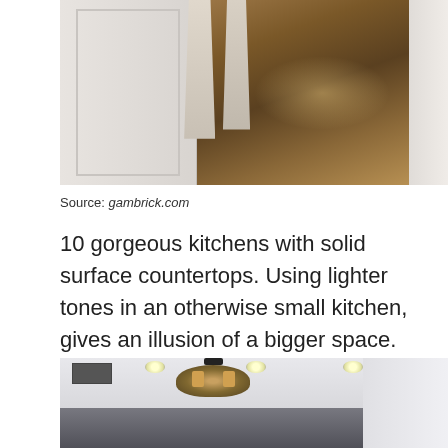[Figure (photo): Kitchen interior photo showing hardwood floor, white cabinetry, and bar stools]
Source: gambrick.com
10 gorgeous kitchens with solid surface countertops. Using lighter tones in an otherwise small kitchen, gives an illusion of a bigger space.
Source: www.themaker.com.au
20 trendy ways to ditch white and embrace gray kitchen cabinets. The open kitchen is adjacent to the living room.
[Figure (photo): Open kitchen with chandelier, recessed lighting, and gray cabinets adjacent to living room]